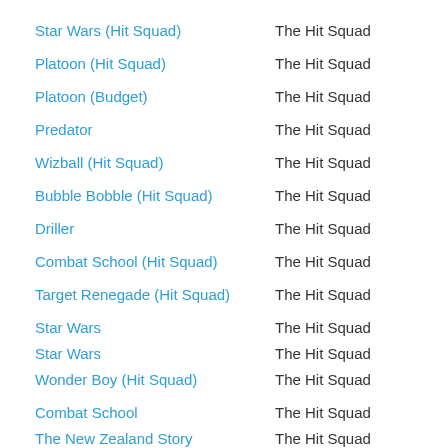Star Wars (Hit Squad) | The Hit Squad
Platoon (Hit Squad) | The Hit Squad
Platoon (Budget) | The Hit Squad
Predator | The Hit Squad
Wizball (Hit Squad) | The Hit Squad
Bubble Bobble (Hit Squad) | The Hit Squad
Driller | The Hit Squad
Combat School (Hit Squad) | The Hit Squad
Target Renegade (Hit Squad) | The Hit Squad
Star Wars | The Hit Squad
Star Wars | The Hit Squad
Wonder Boy (Hit Squad) | The Hit Squad
Combat School | The Hit Squad
The New Zealand Story | The Hit Squad